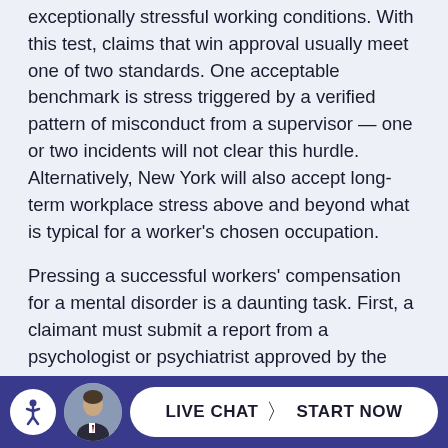exceptionally stressful working conditions. With this test, claims that win approval usually meet one of two standards. One acceptable benchmark is stress triggered by a verified pattern of misconduct from a supervisor — one or two incidents will not clear this hurdle. Alternatively, New York will also accept long-term workplace stress above and beyond what is typical for a worker's chosen occupation.
Pressing a successful workers' compensation for a mental disorder is a daunting task. First, a claimant must submit a report from a psychologist or psychiatrist approved by the New York Workers' Compensation Board.
Next, a worker must gather documentation from
[Figure (other): Footer bar with accessibility icon, person photo, and Live Chat Start Now button on dark blue background]